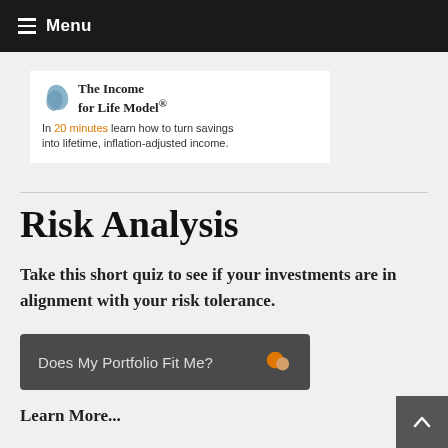Menu
[Figure (screenshot): Advertisement image: The Income for Life Model® — In 20 minutes learn how to turn savings into lifetime, inflation-adjusted income.]
Risk Analysis
Take this short quiz to see if your investments are in alignment with your risk tolerance.
Does My Portfolio Fit Me?
Learn More...